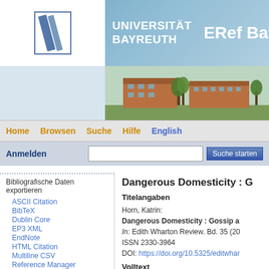[Figure (screenshot): Universität Bayreuth ERef Bayern website header with university logo, name, campus photo, navigation bar, and search bar]
Dangerous Domesticity : G
Titelangaben
Horn, Katrin:
Dangerous Domesticity : Gossip a
In: Edith Wharton Review. Bd. 35 (20
ISSN 2330-3964
DOI: https://doi.org/10.5325/editwhar
Volltext
Bibliografische Daten exportieren
ASCII Citation
BibTeX
Dublin Core
EP3 XML
EndNote
HTML Citation
Multiline CSV
Reference Manager
Literatur vom gleichen Autor